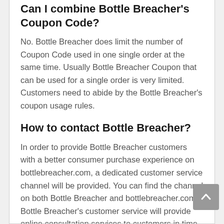Can I combine Bottle Breacher's Coupon Code?
No. Bottle Breacher does limit the number of Coupon Code used in one single order at the same time. Usually Bottle Breacher Coupon that can be used for a single order is very limited. Customers need to abide by the Bottle Breacher's coupon usage rules.
How to contact Bottle Breacher?
In order to provide Bottle Breacher customers with a better consumer purchase experience on bottlebreacher.com, a dedicated customer service channel will be provided. You can find the channel on both Bottle Breacher and bottlebreacher.com. Bottle Breacher's customer service will provide online consultation services to customers in time.